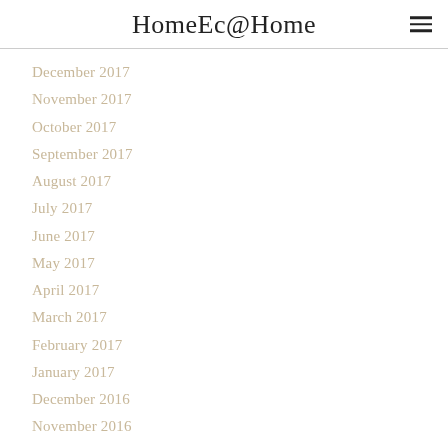HomeEc@Home
December 2017
November 2017
October 2017
September 2017
August 2017
July 2017
June 2017
May 2017
April 2017
March 2017
February 2017
January 2017
December 2016
November 2016
October 2016
September 2016